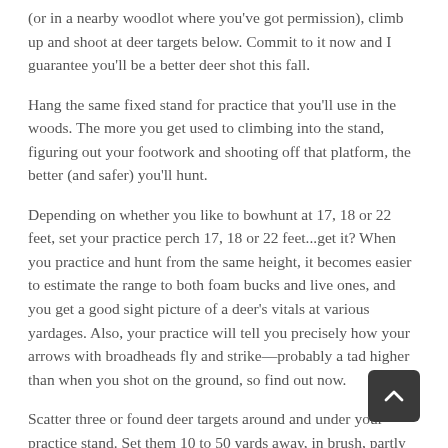(or in a nearby woodlot where you’ve got permission), climb up and shoot at deer targets below. Commit to it now and I guarantee you’ll be a better deer shot this fall.
Hang the same fixed stand for practice that you’ll use in the woods. The more you get used to climbing into the stand, figuring out your footwork and shooting off that platform, the better (and safer) you’ll hunt.
Depending on whether you like to bowhunt at 17, 18 or 22 feet, set your practice perch 17, 18 or 22 feet...get it? When you practice and hunt from the same height, it becomes easier to estimate the range to both foam bucks and live ones, and you get a good sight picture of a deer’s vitals at various yardages. Also, your practice will tell you precisely how your arrows with broadheads fly and strike—probably a tad higher than when you shot on the ground, so find out now.
Scatter three or found deer targets around and under your practice stand. Set them 10 to 50 yards away, in brush, partly behind trees, broadside, quartering-away,